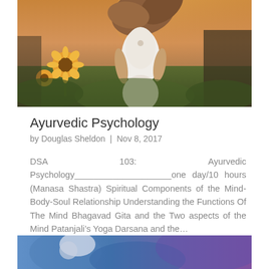[Figure (photo): Young woman with flowing hair seen from behind, running through a sunflower field at golden hour, wearing a white lace top]
Ayurvedic Psychology
by Douglas Sheldon | Nov 8, 2017
DSA 103: Ayurvedic Psychology__________________one day/10 hours (Manasa Shastra) Spiritual Components of the Mind-Body-Soul Relationship Understanding the Functions Of The Mind Bhagavad Gita and the Two aspects of the Mind Patanjali’s Yoga Darsana and the…
[Figure (photo): Partial view of another article image at the bottom of the page, showing blue and purple tones]